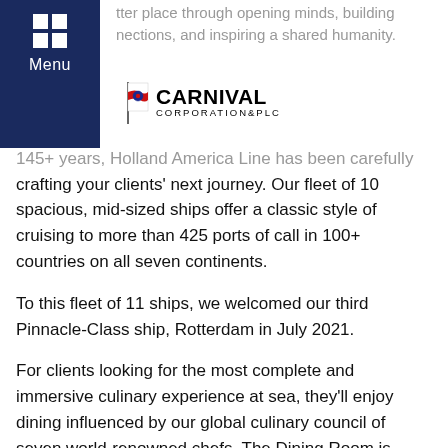tter place through opening minds, building nections, and inspiring a shared humanity.
[Figure (logo): Carnival Corporation & PLC logo with flag emblem]
For 145+ years, Holland America Line has been carefully crafting your clients' next journey. Our fleet of 10 spacious, mid-sized ships offer a classic style of cruising to more than 425 ports of call in 100+ countries on all seven continents.
To this fleet of 11 ships, we welcomed our third Pinnacle-Class ship, Rotterdam in July 2021.
For clients looking for the most complete and immersive culinary experience at sea, they'll enjoy dining influenced by our global culinary council of seven world-renowned chefs. The Dining Room is renowned for everyday excellence, while restaurants like Pinnacle Grill, Tamarind, and Canaletto offer specialty options. Your clients can enjoy an extensive wine selection, chosen by our Wine Curator James